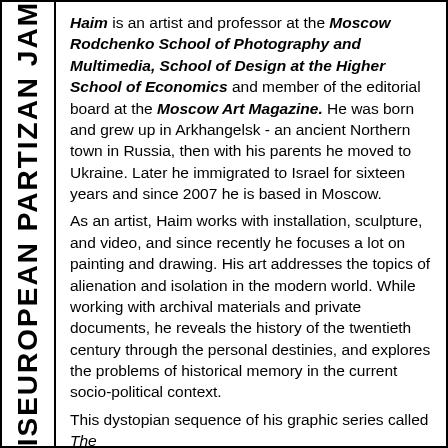ISEUROPEAN PARTIZAN JAM
Haim is an artist and professor at the Moscow Rodchenko School of Photography and Multimedia, School of Design at the Higher School of Economics and member of the editorial board at the Moscow Art Magazine. He was born and grew up in Arkhangelsk - an ancient Northern town in Russia, then with his parents he moved to Ukraine. Later he immigrated to Israel for sixteen years and since 2007 he is based in Moscow.
As an artist, Haim works with installation, sculpture, and video, and since recently he focuses a lot on painting and drawing. His art addresses the topics of alienation and isolation in the modern world. While working with archival materials and private documents, he reveals the history of the twentieth century through the personal destinies, and explores the problems of historical memory in the current socio-political context.
This dystopian sequence of his graphic series called The